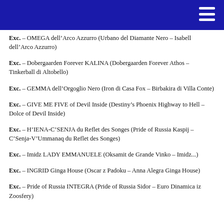Exc. – OMEGA dell'Arco Azzurro (Urbano del Diamante Nero – Isabell dell'Arco Azzurro)
Exc. – Dobergaarden Forever KALINA (Dobergaarden Forever Athos – Tinkerball di Altobello)
Exc. – GEMMA dell'Orgoglio Nero (Iron di Casa Fox – Birbakira di Villa Conte)
Exc. – GIVE ME FIVE of Devil Inside (Destiny's Phoenix Highway to Hell – Dolce of Devil Inside)
Exc. – H'IENA-C'SENJA du Reflet des Songes (Pride of Russia Kaspij – C'Senja-V'Ummanaq du Reflet des Songes)
Exc. – Imidz LADY EMMANUELE (Oksamit de Grande Vinko – Imidz...)
Exc. – INGRID Ginga House (Oscar z Padoku – Anna Alegra Ginga House)
Exc. – Pride of Russia INTEGRA (Pride of Russia Sidor – Euro Dinamica iz Zoosfery)